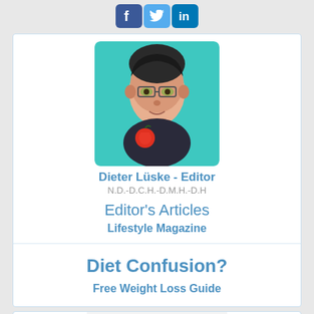[Figure (illustration): Social media icons: Facebook (blue), Twitter (light blue), LinkedIn (blue)]
[Figure (illustration): Artistic painted portrait of Dieter Lüske, a person with dark hair, glasses, and holding an apple, on a teal background]
Dieter Lüske - Editor
N.D.-D.C.H.-D.M.H.-D.H
Editor's Articles
Lifestyle Magazine
Diet Confusion?
Free Weight Loss Guide
[Figure (photo): Partial image at bottom, appears to show a white object, cropped]